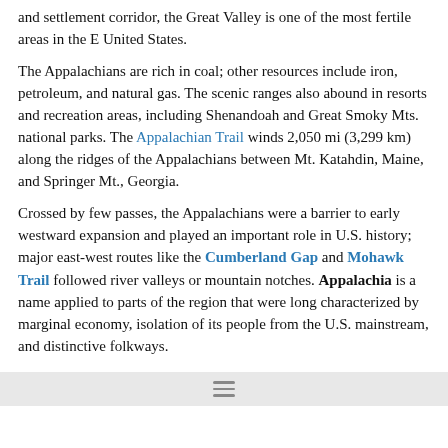and settlement corridor, the Great Valley is one of the most fertile areas in the E United States.
The Appalachians are rich in coal; other resources include iron, petroleum, and natural gas. The scenic ranges also abound in resorts and recreation areas, including Shenandoah and Great Smoky Mts. national parks. The Appalachian Trail winds 2,050 mi (3,299 km) along the ridges of the Appalachians between Mt. Katahdin, Maine, and Springer Mt., Georgia.
Crossed by few passes, the Appalachians were a barrier to early westward expansion and played an important role in U.S. history; major east-west routes like the Cumberland Gap and Mohawk Trail followed river valleys or mountain notches. Appalachia is a name applied to parts of the region that were long characterized by marginal economy, isolation of its people from the U.S. mainstream, and distinctive folkways.
Bibliography
See E. Porter, Appalachian Wilderness (1970); H. M. Caudill, My Land is Dying (1971); M. Brooks, The Appalachians (1986); H. D. Shapiro, Appalachia on Our Mind (1986).